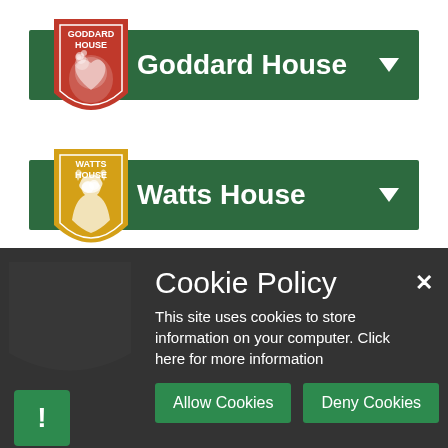[Figure (logo): Goddard House shield logo - red background with white bear figure and text GODDARD HOUSE]
Goddard House
[Figure (logo): Watts House shield logo - gold/yellow background with white lion figure and text WATTS HOUSE]
Watts House
Cookie Policy
This site uses cookies to store information on your computer. Click here for more information
Allow Cookies
Deny Cookies